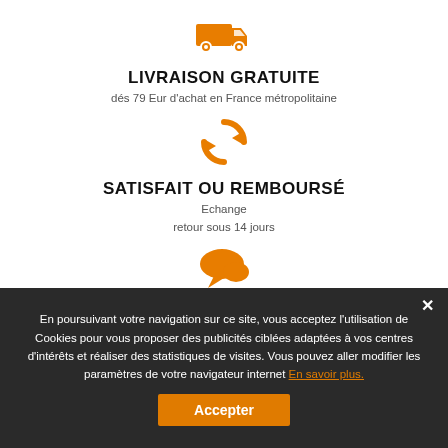[Figure (illustration): Orange delivery truck icon]
LIVRAISON GRATUITE
dés 79 Eur d'achat en France métropolitaine
[Figure (illustration): Orange circular arrows (refresh/exchange) icon]
SATISFAIT OU REMBOURSÉ
Echange
retour sous 14 jours
[Figure (illustration): Orange chat/speech bubble icon]
SUPPORT–CONSEIL
En poursuivant votre navigation sur ce site, vous acceptez l'utilisation de Cookies pour vous proposer des publicités ciblées adaptées à vos centres d'intérêts et réaliser des statistiques de visites. Vous pouvez aller modifier les paramètres de votre navigateur internet En savoir plus.